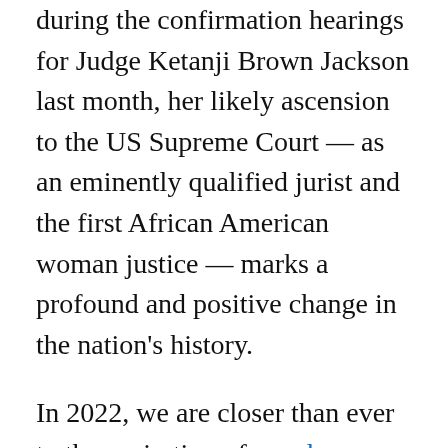during the confirmation hearings for Judge Ketanji Brown Jackson last month, her likely ascension to the US Supreme Court — as an eminently qualified jurist and the first African American woman justice — marks a profound and positive change in the nation's history.
In 2022, we are closer than ever to the aspiration of equal protection promised in the US Constitution and our laws, even as race and gender inequities endure in many areas of American life.
This is a moment worthy of celebration. But it also is a moment that invites deeper...